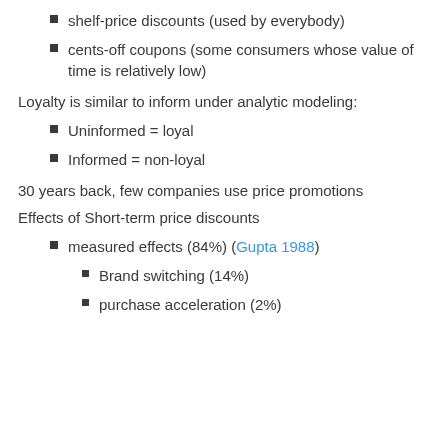shelf-price discounts (used by everybody)
cents-off coupons (some consumers whose value of time is relatively low)
Loyalty is similar to inform under analytic modeling:
Uninformed = loyal
Informed = non-loyal
30 years back, few companies use price promotions
Effects of Short-term price discounts
measured effects (84%) (Gupta 1988)
Brand switching (14%)
purchase acceleration (2%)